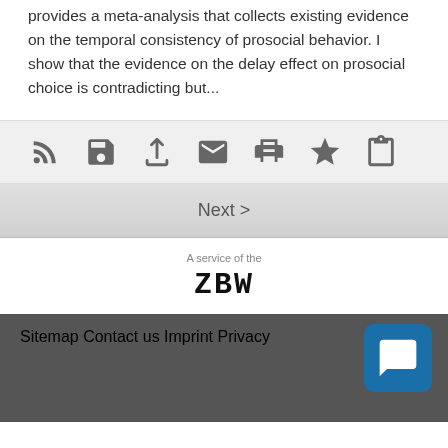provides a meta-analysis that collects existing evidence on the temporal consistency of prosocial behavior. I show that the evidence on the delay effect on prosocial choice is contradicting but...
[Figure (infographic): Toolbar with icons: RSS feed, save/floppy disk, share, email, print, star/bookmark, and copy/clipboard icons]
Next >
A service of the
ZBW
Sitemap
Contact us
Imprint
Privacy